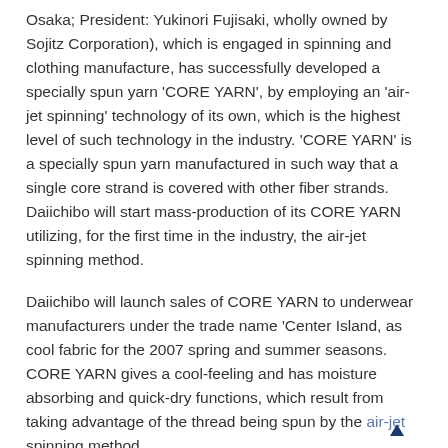Osaka; President: Yukinori Fujisaki, wholly owned by Sojitz Corporation), which is engaged in spinning and clothing manufacture, has successfully developed a specially spun yarn 'CORE YARN', by employing an 'air-jet spinning' technology of its own, which is the highest level of such technology in the industry. 'CORE YARN' is a specially spun yarn manufactured in such way that a single core strand is covered with other fiber strands. Daiichibo will start mass-production of its CORE YARN utilizing, for the first time in the industry, the air-jet spinning method.
Daiichibo will launch sales of CORE YARN to underwear manufacturers under the trade name 'Center Island, as cool fabric for the 2007 spring and summer seasons. CORE YARN gives a cool-feeling and has moisture absorbing and quick-dry functions, which result from taking advantage of the thread being spun by the air-jet spinning method.